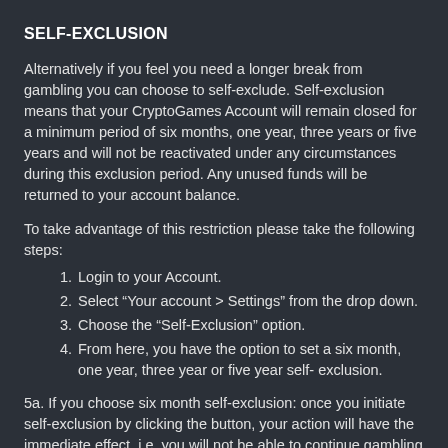SELF-EXCLUSION
Alternatively if you feel you need a longer break from gambling you can choose to self-exclude. Self-exclusion means that your CryptoGames Account will remain closed for a minimum period of six months, one year, three years or five years and will not be reactivated under any circumstances during this exclusion period. Any unused funds will be returned to your account balance.
To take advantage of this restriction please take the following steps:
1. Login to your Account.
2. Select “Your account > Settings” from the drop down.
3. Choose the “Self-Exclusion” option.
4. From here, you have the option to set a six month, one year, three year or five year self- exclusion.
5a. If you choose six month self-exclusion: once you initiate self-exclusion by clicking the button, your action will have the immediate effect, i.e. you will not be able to continue gambling for the period of time set by you. There is no reversibility of your decision. Your account and your funds will be locked for 6 months.
5b.If you choose 12 month self-exclusion or more: once you initiate